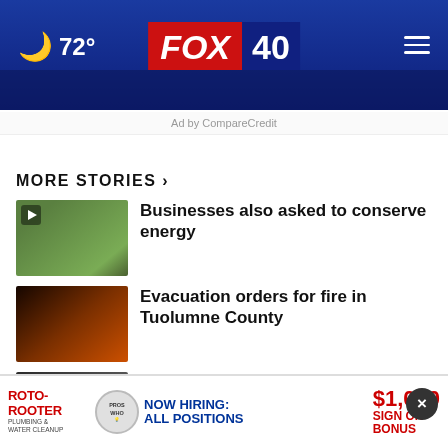72° FOX 40
Ad by CompareCredit
MORE STORIES ›
Businesses also asked to conserve energy
Evacuation orders for fire in Tuolumne County
Stockton homicide suspect arrested in Bay Area by …
Yuba City High School student arrested for threatening…
Fox shows support for tax increase to…
[Figure (screenshot): Roto-Rooter advertisement banner: NOW HIRING: ALL POSITIONS, $1,000 SIGN ON BONUS]